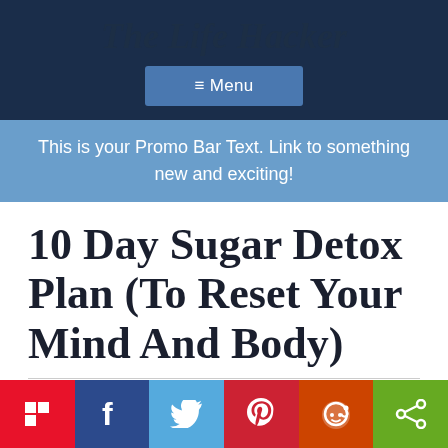The Life Hacker
≡ Menu
This is your Promo Bar Text. Link to something new and exciting!
10 Day Sugar Detox Plan (To Reset Your Mind And Body)
lifehacker  September 7, 2018
[Figure (infographic): Social sharing bar with Flipboard, Facebook, Twitter, Pinterest, Reddit, and Share buttons]